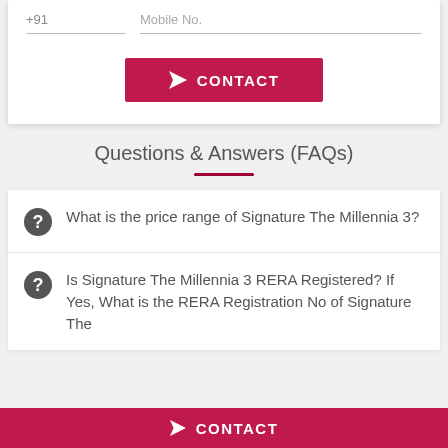+91
Mobile No.
CONTACT
Questions & Answers (FAQs)
What is the price range of Signature The Millennia 3?
Is Signature The Millennia 3 RERA Registered? If Yes, What is the RERA Registration No of Signature The
CONTACT